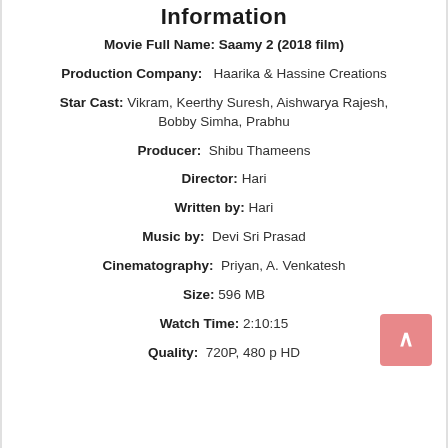Information
Movie Full Name: Saamy 2 (2018 film)
Production Company:   Haarika & Hassine Creations
Star Cast: Vikram, Keerthy Suresh, Aishwarya Rajesh, Bobby Simha, Prabhu
Producer:  Shibu Thameens
Director: Hari
Written by: Hari
Music by:  Devi Sri Prasad
Cinematography:  Priyan, A. Venkatesh
Size: 596 MB
Watch Time: 2:10:15
Quality:  720P, 480 p HD